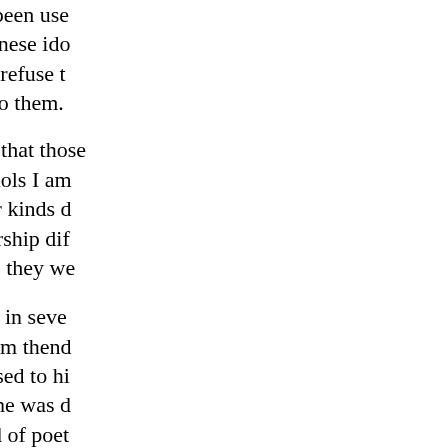that some of them have been use worshippers like the Chinese ido and scourged when they refuse t prayers that are offered to them. I must here observe, that those vote themselves to the idols I am very much from all other kinds d fall out because they worship dif idolaters quarrel because they we same with what we meet in seve not that I would infer from thend (whoever he was) proposed to hi those passages, but that he was d general by the same kind of poet same copyings after nature. of C with epigrammatia table with thr perhaps have all of them courtin it adorations. She smiled upon o trod upon the other's foot which which of these three, says the ol the favourite ? In troth, says he, t tastes which are the most unreju must, however, beg leave to dis